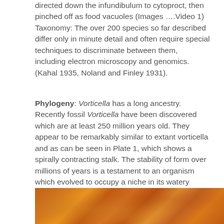directed down the infundibulum to cytoproct, then pinched off as food vacuoles (Images ….Video 1) Taxonomy: The over 200 species so far described differ only in minute detail and often require special techniques to discriminate between them, including electron microscopy and genomics. (Kahal 1935, Noland and Finley 1931).
Phylogeny: Vorticella has a long ancestry. Recently fossil Vorticella have been discovered which are at least 250 million years old. They appear to be remarkably similar to extant vorticella and as can be seen in Plate 1, which shows a spirally contracting stalk. The stability of form over millions of years is a testament to an organism which evolved to occupy a niche in its watery environment. This is an elegant expression of form and function reaching perfection.
[Figure (photo): Close-up orange/amber colored microscopy or fossil image, partially visible at bottom of page]